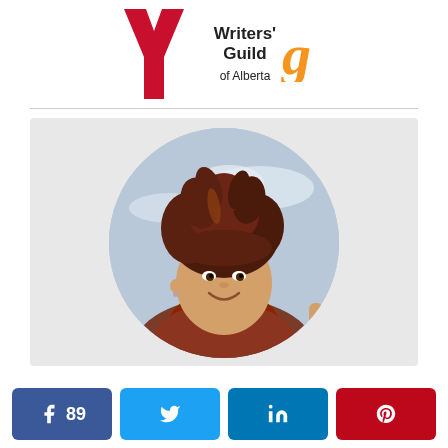[Figure (logo): YMCA Y logo (red) and Writers' Guild of Alberta logo with orange script]
[Figure (photo): Circular cropped photo of a woman with messy auburn/dark hair, smiling, wearing a colorful striped scarf and rust-colored top, making a thumbs-up gesture. Sky with clouds in background.]
[Figure (infographic): Social sharing buttons row: Facebook (89 shares), Twitter, LinkedIn, Pinterest]